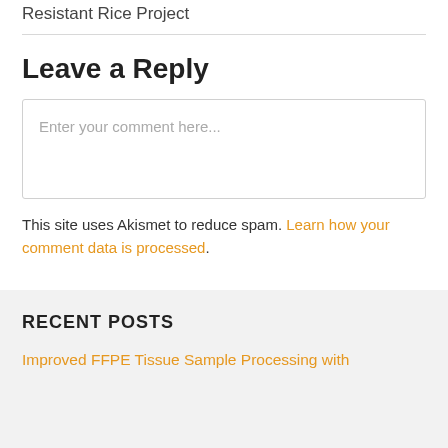Resistant Rice Project
Leave a Reply
Enter your comment here...
This site uses Akismet to reduce spam. Learn how your comment data is processed.
RECENT POSTS
Improved FFPE Tissue Sample Processing with